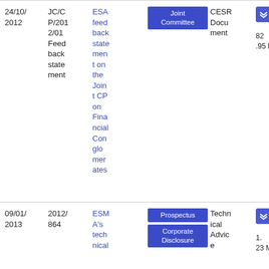| Date | Reference | Title | Tags | Type | File |
| --- | --- | --- | --- | --- | --- |
| 24/10/2012 | JC/CP/2012/01 Feedback statement | ESA feedback statement on the Joint CP on Financial Conglomerates | Joint Committee | CESR Document | PDF 82.95 KB |
| 09/01/2013 | 2012/864 | ESMA's technical | Prospectus, Corporate Disclosure | Technical Advice | PDF 1.23 MB |